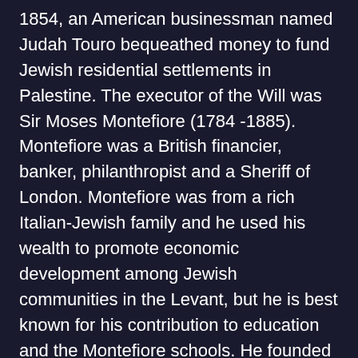1854, an American businessman named Judah Touro bequeathed money to fund Jewish residential settlements in Palestine. The executor of the Will was Sir Moses Montefiore (1784 -1885). Montefiore was a British financier, banker, philanthropist and a Sheriff of London. Montefiore was from a rich Italian-Jewish family and he used his wealth to promote economic development among Jewish communities in the Levant, but he is best known for his contribution to education and the Montefiore schools. He founded the Mishkenot Sha'ananim in 1860, a Jewish residential settlement and almshouse outside of the old walled city of Jerusalem; the first settlement outside Jerusalem's walled city. As President of the Board of Deputies of British Jews, Montefiore carried a lot of influence with the British consul in Damascus. The consul Charles Henry Churchill (1841–42) is viewed as pivotal to the development of the new Zionism. ¹ Many of the Montefiore funds were used for expanding Jerusalem to Palestine.